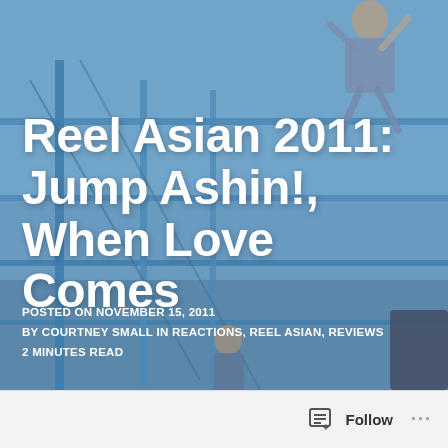[Figure (photo): Background photo of people doing parkour or acrobatics on blue metal bars/scaffolding against a light blue sky. Multiple figures visible, one jumping in upper right.]
Reel Asian 2011: Jump Ashin!, When Love Comes
POSTED ON NOVEMBER 15, 2011
BY COURTNEY SMALL IN REACTIONS, REEL ASIAN, REVIEWS
2 MINUTES READ